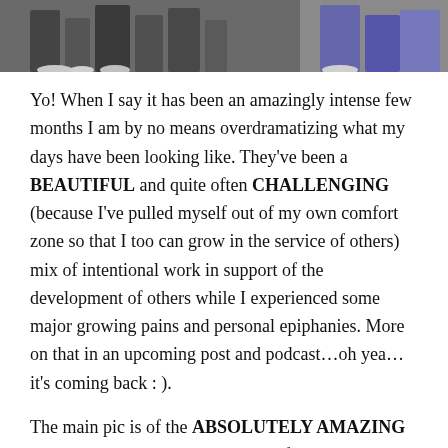[Figure (photo): Black and white photo strip showing people, partial view of legs and figures at the top of the page]
Yo! When I say it has been an amazingly intense few months I am by no means overdramatizing what my days have been looking like. They've been a BEAUTIFUL and quite often CHALLENGING (because I've pulled myself out of my own comfort zone so that I too can grow in the service of others) mix of intentional work in support of the development of others while I experienced some major growing pains and personal epiphanies. More on that in an upcoming post and podcast…oh yea…it's coming back : ).
The main pic is of the ABSOLUTELY AMAZING educators I had the distinct honor of working with this past weekend. On Friday, May 31st I was blessed with the opportunity to share a mindfulness professional development experience (Remaining Calm in the Storm-Mindfulness Techniques for